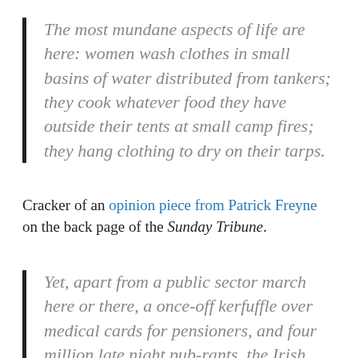The most mundane aspects of life are here: women wash clothes in small basins of water distributed from tankers; they cook whatever food they have outside their tents at small camp fires; they hang clothing to dry on their tarps.
Cracker of an opinion piece from Patrick Freyne on the back page of the Sunday Tribune.
Yet, apart from a public sector march here or there, a once-off kerfuffle over medical cards for pensioners, and four million late night pub-rants, the Irish public have been very, very compliant